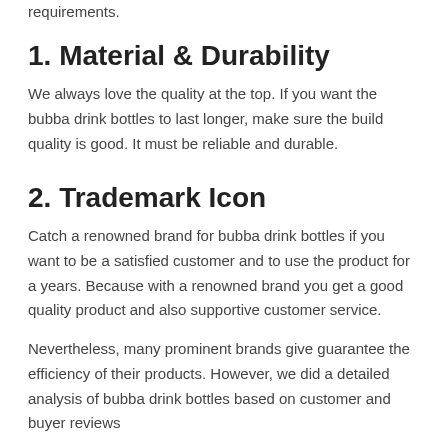requirements.
1. Material & Durability
We always love the quality at the top. If you want the bubba drink bottles to last longer, make sure the build quality is good. It must be reliable and durable.
2. Trademark Icon
Catch a renowned brand for bubba drink bottles if you want to be a satisfied customer and to use the product for a years. Because with a renowned brand you get a good quality product and also supportive customer service.
Nevertheless, many prominent brands give guarantee the efficiency of their products. However, we did a detailed analysis of bubba drink bottles based on customer and buyer reviews